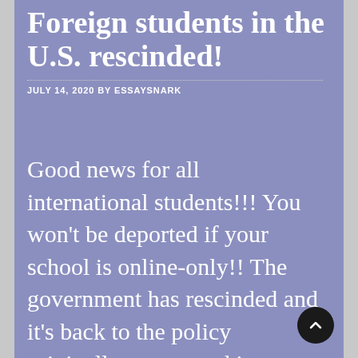Foreign students in the U.S. rescinded!
JULY 14, 2020 BY ESSAYSNARK
Good news for all international students!!! You won't be deported if your school is online-only!! The government has rescinded and it's back to the policy originally announced in March for F1